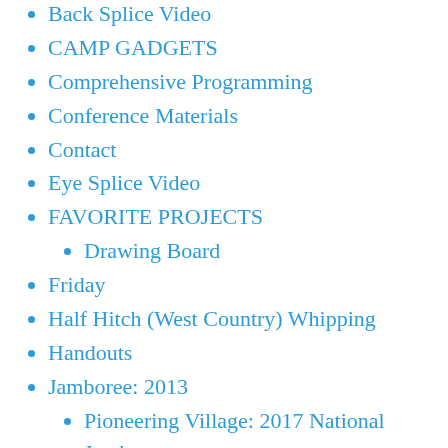Back Splice Video
CAMP GADGETS
Comprehensive Programming
Conference Materials
Contact
Eye Splice Video
FAVORITE PROJECTS
Drawing Board
Friday
Half Hitch (West Country) Whipping
Handouts
Jamboree: 2013
Pioneering Village: 2017 National Jamboree
Links
MAKING SCOUTING FUN CONFERENCES
Making Scouting Fun with Pioneering